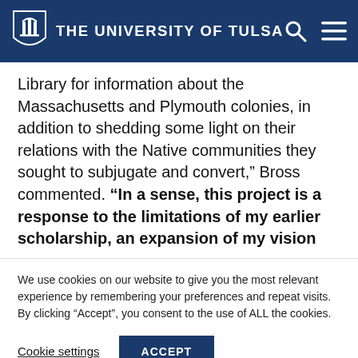THE UNIVERSITY OF TULSA
Library for information about the Massachusetts and Plymouth colonies, in addition to shedding some light on their relations with the Native communities they sought to subjugate and convert," Bross commented. "In a sense, this project is a response to the limitations of my earlier scholarship, an expansion of my vision
We use cookies on our website to give you the most relevant experience by remembering your preferences and repeat visits. By clicking “Accept”, you consent to the use of ALL the cookies.
Cookie settings | ACCEPT